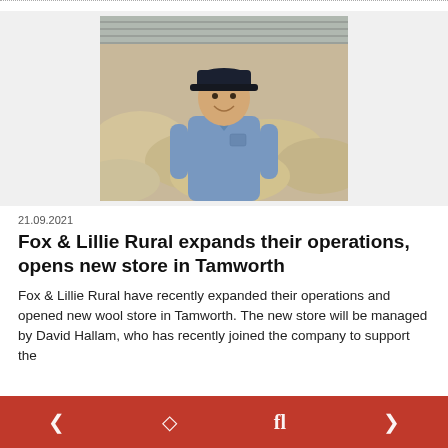[Figure (photo): Man in blue shirt and dark cap smiling, standing in front of large pile of wool fleece]
21.09.2021
Fox & Lillie Rural expands their operations, opens new store in Tamworth
Fox & Lillie Rural have recently expanded their operations and opened new wool store in Tamworth. The new store will be managed by David Hallam, who has recently joined the company to support the
social media icons footer bar